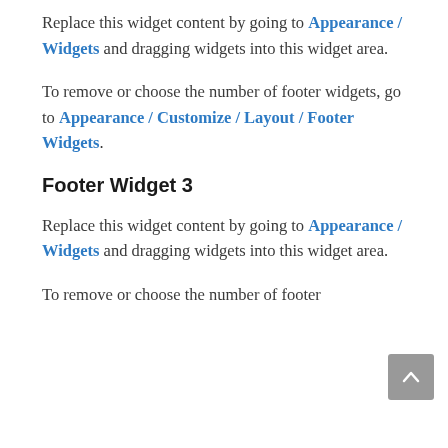Replace this widget content by going to Appearance / Widgets and dragging widgets into this widget area.
To remove or choose the number of footer widgets, go to Appearance / Customize / Layout / Footer Widgets.
Footer Widget 3
Replace this widget content by going to Appearance / Widgets and dragging widgets into this widget area.
To remove or choose the number of footer